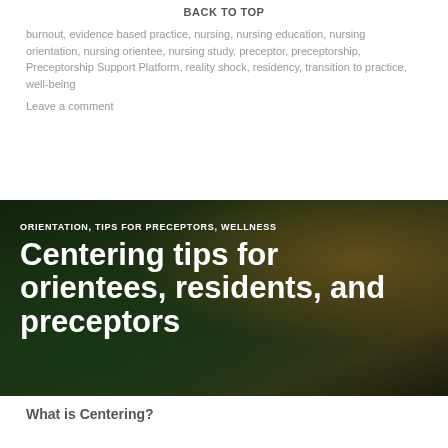BACK TO TOP
burnout, evidence based practice, nursing, nursing education, nursing orientation, nursing orientee, nursing study, preceptor, preceptorship, Preceptorship Support Platform, reality shock, residency, transition to practice, well-being
Leave a comment
[Figure (photo): Background photo of small white wildflowers in grass at ground level with a blurred warm sunset/orange light in the background, dark green tones overall]
ORIENTATION, TIPS FOR PRECEPTORS, WELLNESS
Centering tips for orientees, residents, and preceptors
What is Centering?